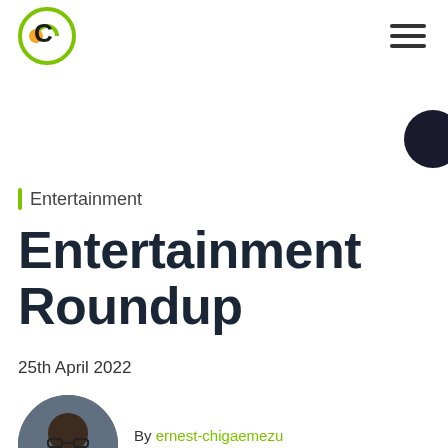Criton logo and navigation menu
Entertainment
Entertainment Roundup
25th April 2022
By ernest-chigaemezu
Author